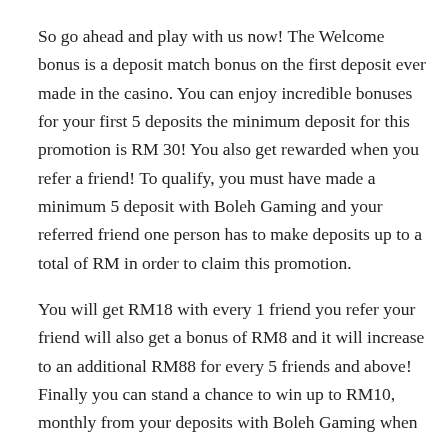So go ahead and play with us now! The Welcome bonus is a deposit match bonus on the first deposit ever made in the casino. You can enjoy incredible bonuses for your first 5 deposits the minimum deposit for this promotion is RM 30! You also get rewarded when you refer a friend! To qualify, you must have made a minimum 5 deposit with Boleh Gaming and your referred friend one person has to make deposits up to a total of RM in order to claim this promotion.
You will get RM18 with every 1 friend you refer your friend will also get a bonus of RM8 and it will increase to an additional RM88 for every 5 friends and above! Finally you can stand a chance to win up to RM10, monthly from your deposits with Boleh Gaming when